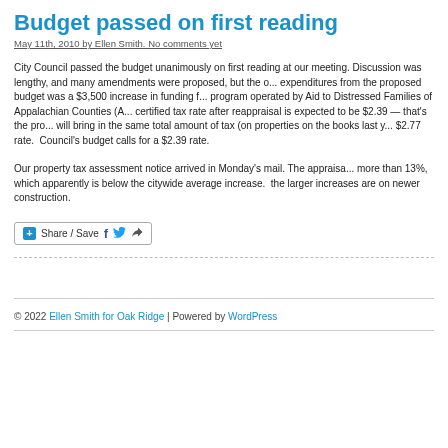Budget passed on first reading
May 11th, 2010 by Ellen Smith. No comments yet
City Council passed the budget unanimously on first reading at our meeting. Discussion was lengthy, and many amendments were proposed, but the only change in expenditures from the proposed budget was a $3,500 increase in funding for a program operated by Aid to Distressed Families of Appalachian Counties (A... certified tax rate after reappraisal is expected to be $2.39 — that's the pro... will bring in the same total amount of tax (on properties on the books last y... $2.77 rate.  Council's budget calls for a $2.39 rate.
Our property tax assessment notice arrived in Monday's mail. The appraisa... more than 13%, which apparently is below the citywide average increase. ... the larger increases are on newer construction.
[Figure (other): Share/Save social sharing button with Facebook, Twitter, and forward icons]
© 2022 Ellen Smith for Oak Ridge | Powered by WordPress